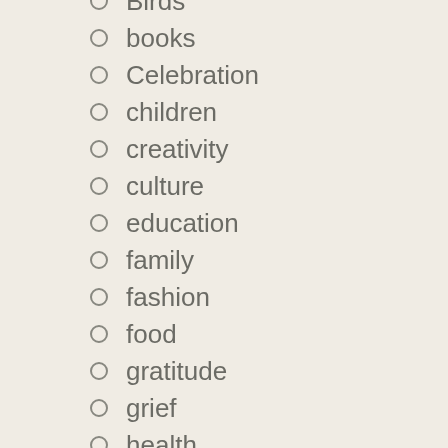Birds
books
Celebration
children
creativity
culture
education
family
fashion
food
gratitude
grief
health
hobbies